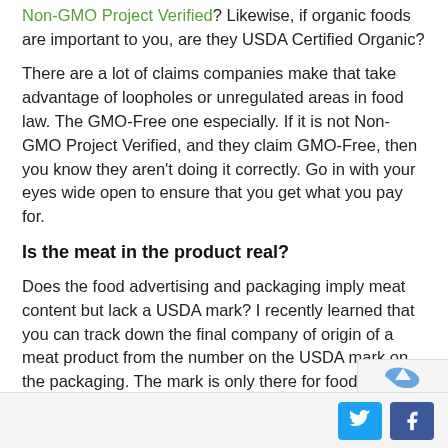Non-GMO Project Verified? Likewise, if organic foods are important to you, are they USDA Certified Organic?
There are a lot of claims companies make that take advantage of loopholes or unregulated areas in food law. The GMO-Free one especially. If it is not Non-GMO Project Verified, and they claim GMO-Free, then you know they aren't doing it correctly. Go in with your eyes wide open to ensure that you get what you pay for.
Is the meat in the product real?
Does the food advertising and packaging imply meat content but lack a USDA mark? I recently learned that you can track down the final company of origin of a meat product from the number on the USDA mark on the packaging. The mark is only there for foods that contain real meat or poultry.